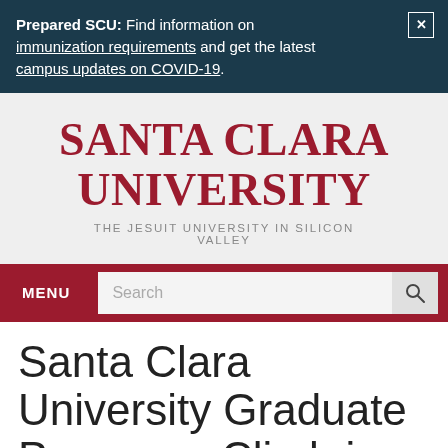Prepared SCU: Find information on immunization requirements and get the latest campus updates on COVID-19.
[Figure (logo): Santa Clara University logo with text 'SANTA CLARA UNIVERSITY' in red serif font and 'THE JESUIT UNIVERSITY IN SILICON VALLEY' in grey caps below]
MENU | Search
Santa Clara University Graduate Programs Climb in U.S. News